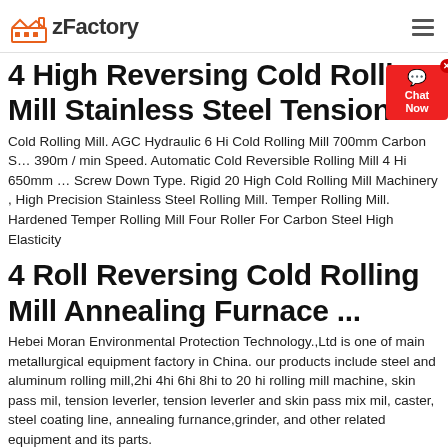zFactory
4 High Reversing Cold Rolling Mill Stainless Steel Tension ...
Cold Rolling Mill. AGC Hydraulic 6 Hi Cold Rolling Mill 700mm Carbon S… 390m / min Speed. Automatic Cold Reversible Rolling Mill 4 Hi 650mm … Screw Down Type. Rigid 20 High Cold Rolling Mill Machinery , High Precision Stainless Steel Rolling Mill. Temper Rolling Mill. Hardened Temper Rolling Mill Four Roller For Carbon Steel High Elasticity
4 Roll Reversing Cold Rolling Mill Annealing Furnace ...
Hebei Moran Environmental Protection Technology.,Ltd is one of main metallurgical equipment factory in China. our products include steel and aluminum rolling mill,2hi 4hi 6hi 8hi to 20 hi rolling mill machine, skin pass mil, tension leverler, tension leverler and skin pass mix mil, caster, steel coating line, annealing furnance,grinder, and other related equipment and its parts.